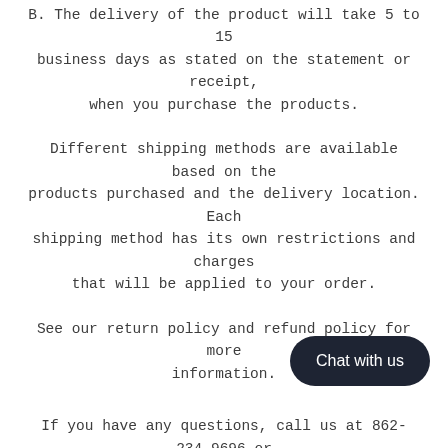B. The delivery of the product will take 5 to 15 business days as stated on the statement or receipt, when you purchase the products.
Different shipping methods are available based on the products purchased and the delivery location. Each shipping method has its own restrictions and charges that will be applied to your order.
See our return policy and refund policy for more information.
If you have any questions, call us at 862-234-9696 or email us at clubdelinternet@gmail.com.
You can check your order at www.clubdelinternet.net
[Figure (other): Chat with us button (dark rounded pill button)]